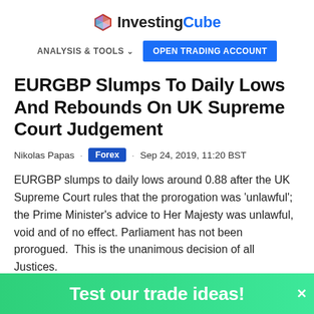InvestingCube — ANALYSIS & TOOLS | OPEN TRADING ACCOUNT
EURGBP Slumps To Daily Lows And Rebounds On UK Supreme Court Judgement
Nikolas Papas · Forex · Sep 24, 2019, 11:20 BST
EURGBP slumps to daily lows around 0.88 after the UK Supreme Court rules that the prorogation was 'unlawful'; the Prime Minister's advice to Her Majesty was unlawful, void and of no effect. Parliament has not been prorogued.  This is the unanimous decision of all Justices.
The pair breached the 200-day moving average on the news.
Test our trade ideas!